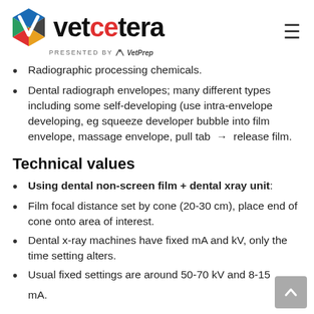vetcetera PRESENTED BY VetPrep
Radiographic processing chemicals.
Dental radiograph envelopes; many different types including some self-developing (use intra-envelope developing, eg squeeze developer bubble into film envelope, massage envelope, pull tab → release film.
Technical values
Using dental non-screen film + dental xray unit:
Film focal distance set by cone (20-30 cm), place end of cone onto area of interest.
Dental x-ray machines have fixed mA and kV, only the time setting alters.
Usual fixed settings are around 50-70 kV and 8-15 mA.